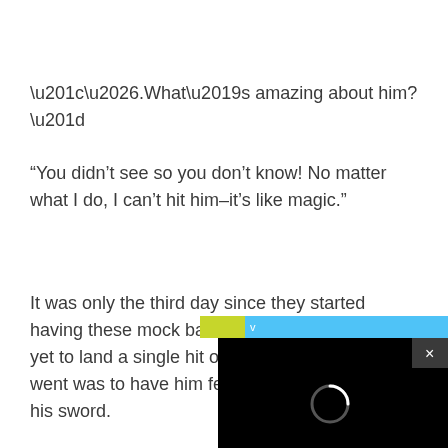“….What’s amazing about him?”
“You didn’t see so you don’t know! No matter what I do, I can’t hit him–it’s like magic.”
It was only the third day since they started having these mock battles. However, Reki has yet to land a single hit on Kuroe. The best she went was to have him fend off her attacks with his sword.
[Figure (screenshot): A black video player overlay in the bottom-right corner with a close (x) button, a loading spinner circle, and a blue/yellow banner above it.]